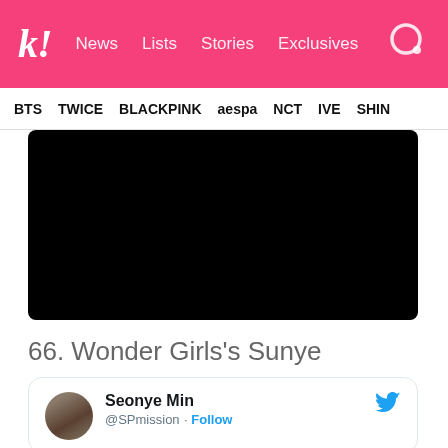k! News Lists Stories Exclusives
BTS TWICE BLACKPINK aespa NCT IVE SHIN
[Figure (photo): Black rectangle representing embedded video content]
66. Wonder Girls's Sunye
Seonye Min @SPmission · Follow